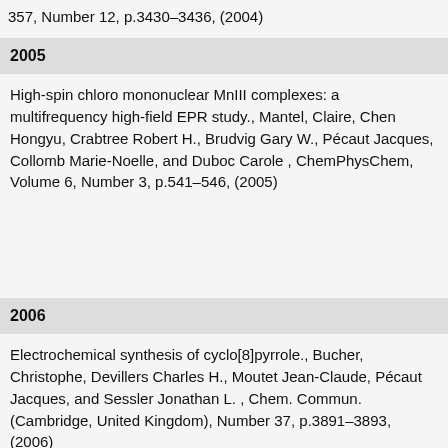357, Number 12, p.3430–3436, (2004)
2005
High-spin chloro mononuclear MnIII complexes: a multifrequency high-field EPR study., Mantel, Claire, Chen Hongyu, Crabtree Robert H., Brudvig Gary W., Pécaut Jacques, Collomb Marie-Noelle, and Duboc Carole , ChemPhysChem, Volume 6, Number 3, p.541–546, (2005)
2006
Electrochemical synthesis of cyclo[8]pyrrole., Bucher, Christophe, Devillers Charles H., Moutet Jean-Claude, Pécaut Jacques, and Sessler Jonathan L. , Chem. Commun. (Cambridge, United Kingdom), Number 37, p.3891–3893, (2006)